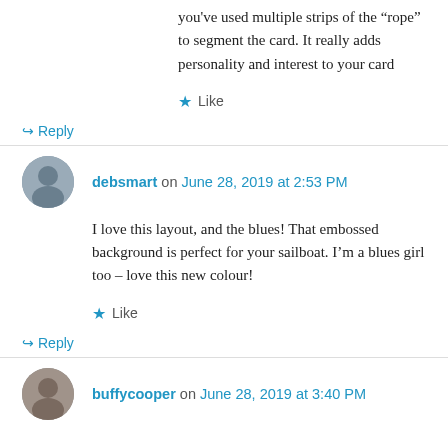you've used multiple strips of the "rope" to segment the card. It really adds personality and interest to your card
★ Like
↳ Reply
debsmart on June 28, 2019 at 2:53 PM
I love this layout, and the blues! That embossed background is perfect for your sailboat. I'm a blues girl too – love this new colour!
★ Like
↳ Reply
buffycooper on June 28, 2019 at 3:40 PM